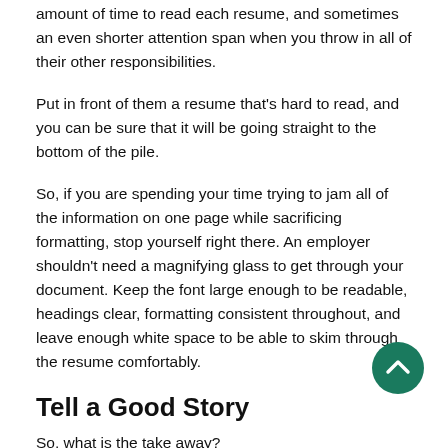amount of time to read each resume, and sometimes an even shorter attention span when you throw in all of their other responsibilities.
Put in front of them a resume that's hard to read, and you can be sure that it will be going straight to the bottom of the pile.
So, if you are spending your time trying to jam all of the information on one page while sacrificing formatting, stop yourself right there. An employer shouldn't need a magnifying glass to get through your document. Keep the font large enough to be readable, headings clear, formatting consistent throughout, and leave enough white space to be able to skim through the resume comfortably.
Tell a Good Story
So, what is the take away?